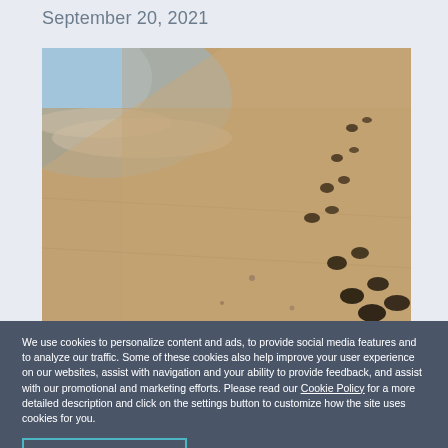September 20, 2021
[Figure (photo): Close-up photograph of sandy beach with small footprints (possibly sea turtle tracks) trailing diagonally across the sand, with ocean water visible in the upper-left corner.]
We use cookies to personalize content and ads, to provide social media features and to analyze our traffic. Some of these cookies also help improve your user experience on our websites, assist with navigation and your ability to provide feedback, and assist with our promotional and marketing efforts. Please read our Cookie Policy for a more detailed description and click on the settings button to customize how the site uses cookies for you.
ACCEPT COOKIES
COOKIES SETTINGS